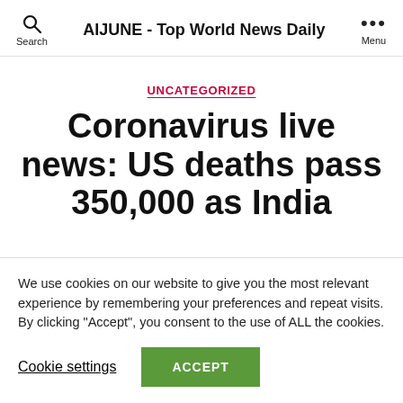AIJUNE - Top World News Daily
UNCATEGORIZED
Coronavirus live news: US deaths pass 350,000 as India
We use cookies on our website to give you the most relevant experience by remembering your preferences and repeat visits. By clicking "Accept", you consent to the use of ALL the cookies.
Cookie settings  ACCEPT